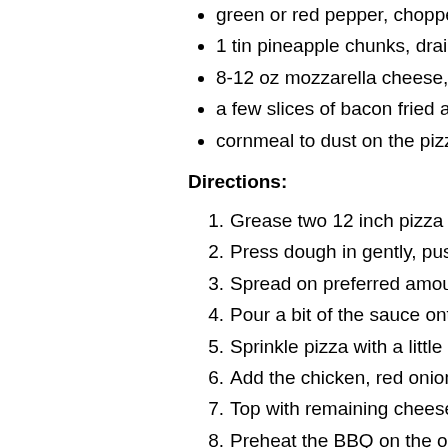green or red pepper, chopped
1 tin pineapple chunks, drained
8-12 oz mozzarella cheese, gr
a few slices of bacon fried and
cornmeal to dust on the pizza
Directions:
1. Grease two 12 inch pizza pans
2. Press dough in gently, pushing
3. Spread on preferred amount o
4. Pour a bit of the sauce onto th
5. Sprinkle pizza with a little chee
6. Add the chicken, red onion, gr
7. Top with remaining cheese.
8. Preheat the BBQ on the one s
9. Put the pizza on the top of the the lid closed for about 15 min
10. Total baking time is about 25-3
11. If baking in the oven, bake in